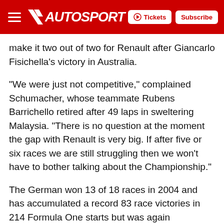AUTOSPORT — Tickets | Subscribe
make it two out of two for Renault after Giancarlo Fisichella's victory in Australia.
"We were just not competitive," complained Schumacher, whose teammate Rubens Barrichello retired after 49 laps in sweltering Malaysia. "There is no question at the moment the gap with Renault is very big. If after five or six races we are still struggling then we won't have to bother talking about the Championship."
The German won 13 of 18 races in 2004 and has accumulated a record 83 race victories in 214 Formula One starts but was again powerless to improve Ferrari's sliding fortunes.
"I can see how it's hard to understand how we won